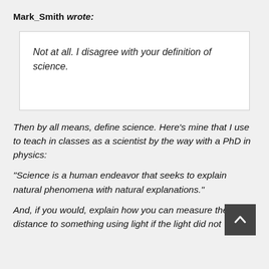Mark_Smith wrote:
Not at all. I disagree with your definition of science.
Then by all means, define science. Here's mine that I use to teach in classes as a scientist by the way with a PhD in physics:
"Science is a human endeavor that seeks to explain natural phenomena with natural explanations."
And, if you would, explain how you can measure the distance to something using light if the light did not